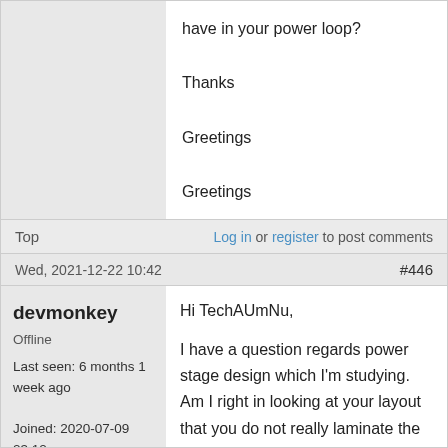have in your power loop?

Thanks

Greetings

Greetings
Top
Log in or register to post comments
Wed, 2021-12-22 10:42
#446
devmonkey
Offline
Last seen: 6 months 1 week ago
Joined: 2020-07-09 23:12
Posts: 5
Hi TechAUmNu,

I have a question regards power stage design which I'm studying. Am I right in looking at your layout that you do not really laminate the bus with alternate +bus,-bus,+bus,-bus layers to reduce inductance, and your multi-layer board is really just so you can get enough copper thickness? If so is this design